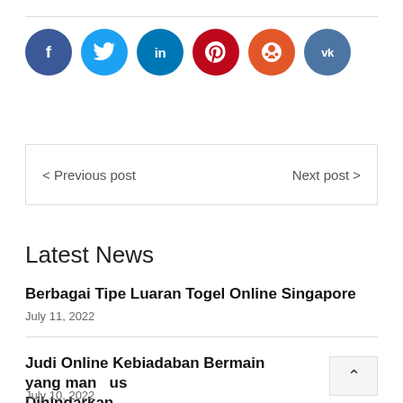[Figure (other): Social media sharing icons: Facebook (dark blue), Twitter (light blue), LinkedIn (blue), Pinterest (red), StumbleUpon (orange-red), VK (slate blue)]
< Previous post    Next post >
Latest News
Berbagai Tipe Luaran Togel Online Singapore
July 11, 2022
Judi Online Kebiadaban Bermain yang man us Dihindarkan
July 10, 2022